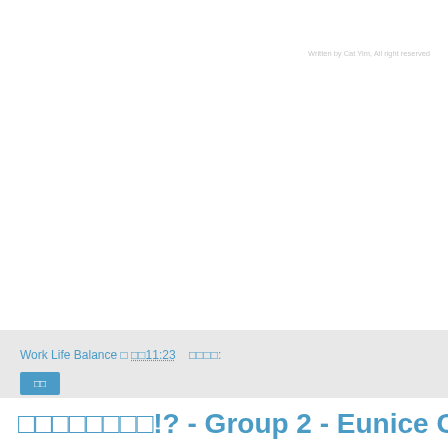Written by Cat Yim, All right reserved
Work Life Balance □ □□11:23    □□□□:
□□
□□□□□□□□!? - Group 2 - Eunice Cheung